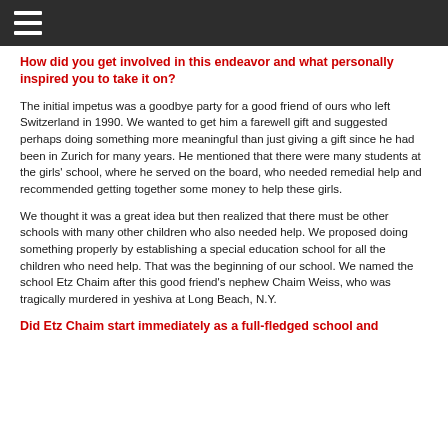How did you get involved in this endeavor and what personally inspired you to take it on?
The initial impetus was a goodbye party for a good friend of ours who left Switzerland in 1990. We wanted to get him a farewell gift and suggested perhaps doing something more meaningful than just giving a gift since he had been in Zurich for many years. He mentioned that there were many students at the girls' school, where he served on the board, who needed remedial help and recommended getting together some money to help these girls.
We thought it was a great idea but then realized that there must be other schools with many other children who also needed help. We proposed doing something properly by establishing a special education school for all the children who need help. That was the beginning of our school. We named the school Etz Chaim after this good friend's nephew Chaim Weiss, who was tragically murdered in yeshiva at Long Beach, N.Y.
Did Etz Chaim start immediately as a full-fledged school and